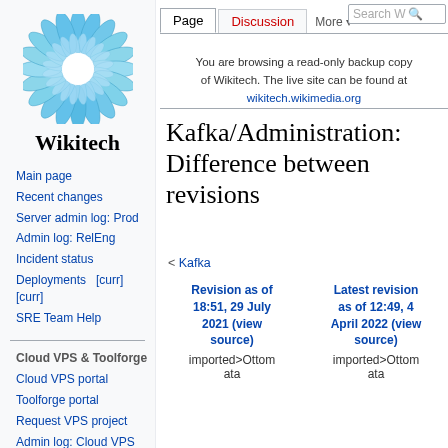Log in
[Figure (logo): Wikitech circular blue gear/flower logo with white center]
Wikitech
Main page
Recent changes
Server admin log: Prod
Admin log: RelEng
Incident status
Deployments   [curr] [curr]
SRE Team Help
Cloud VPS & Toolforge
Cloud VPS portal
Toolforge portal
Request VPS project
Admin log: Cloud VPS
You are browsing a read-only backup copy of Wikitech. The live site can be found at wikitech.wikimedia.org
Kafka/Administration: Difference between revisions
< Kafka
| Revision as of 18:51, 29 July 2021 (view source) | Latest revision as of 12:49, 4 April 2022 (view source) |
| --- | --- |
| imported>Ottomata | imported>Ottomata |